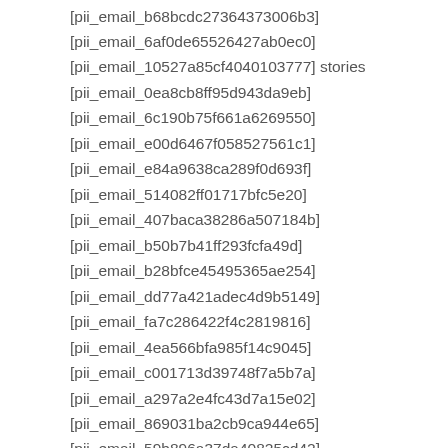[pii_email_b68bcdc27364373006b3]
[pii_email_6af0de65526427ab0ec0]
[pii_email_10527a85cf4040103777] stories
[pii_email_0ea8cb8ff95d943da9eb]
[pii_email_6c190b75f661a6269550]
[pii_email_e00d6467f058527561c1]
[pii_email_e84a9638ca289f0d693f]
[pii_email_514082ff01717bfc5e20]
[pii_email_407baca38286a507184b]
[pii_email_b50b7b41ff293fcfa49d]
[pii_email_b28bfce45495365ae254]
[pii_email_dd77a421adec4d9b5149]
[pii_email_fa7c286422f4c2819816]
[pii_email_4ea566bfa985f14c9045]
[pii_email_c001713d39748f7a5b7a]
[pii_email_a297a2e4fc43d7a15e02]
[pii_email_869031ba2cb9ca944e65]
[pii_email_59b896a37da40825cd42]
[pii_email_a23822da97e9c095b475]